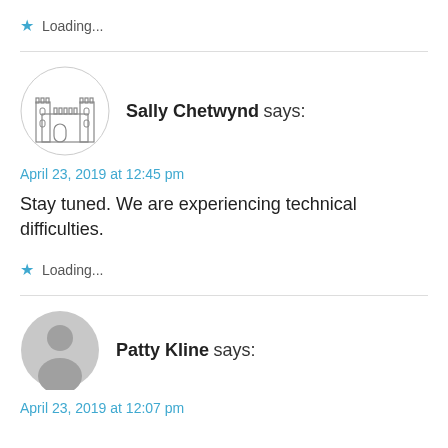Loading...
Sally Chetwynd says:
April 23, 2019 at 12:45 pm
Stay tuned. We are experiencing technical difficulties.
Loading...
Patty Kline says:
April 23, 2019 at 12:07 pm